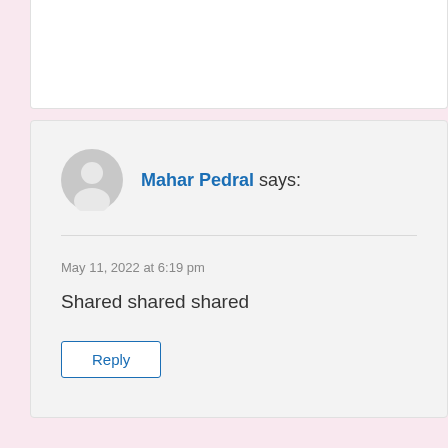Mahar Pedral says:
May 11, 2022 at 6:19 pm
Shared shared shared
Reply